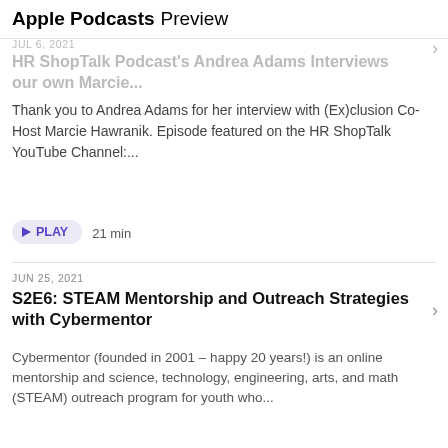Apple Podcasts Preview
Jul 6, 2021 · HR ShopTalk Podcast's Andrea Adams Interviews our own Marcie...
Thank you to Andrea Adams for her interview with (Ex)clusion Co-Host Marcie Hawranik. Episode featured on the HR ShopTalk YouTube Channel:...
PLAY  21 min
JUN 25, 2021
S2E6: STEAM Mentorship and Outreach Strategies with Cybermentor
Cybermentor (founded in 2001 – happy 20 years!) is an online mentorship and science, technology, engineering, arts, and math (STEAM) outreach program for youth who...
PLAY  52 min
MAY 25, 2021
S2E5: Interview with Steven Ngo; Anti-Asian Racism, Allyship, & Innovating for Systemic...
Steven Ngo is a Vancouver-based lawyer who specializes in business and technology. He serves on the board of various organizations that advocate for equity, justice, and...
PLAY  29 min